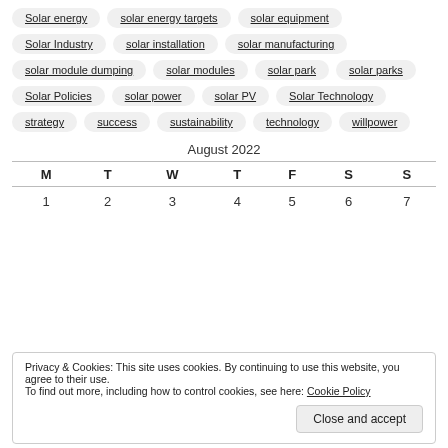Solar energy, solar energy targets, solar equipment, Solar Industry, solar installation, solar manufacturing, solar module dumping, solar modules, solar park, solar parks, Solar Policies, solar power, solar PV, Solar Technology, strategy, success, sustainability, technology, willpower
| M | T | W | T | F | S | S |
| --- | --- | --- | --- | --- | --- | --- |
| 1 | 2 | 3 | 4 | 5 | 6 | 7 |
Privacy & Cookies: This site uses cookies. By continuing to use this website, you agree to their use.
To find out more, including how to control cookies, see here: Cookie Policy